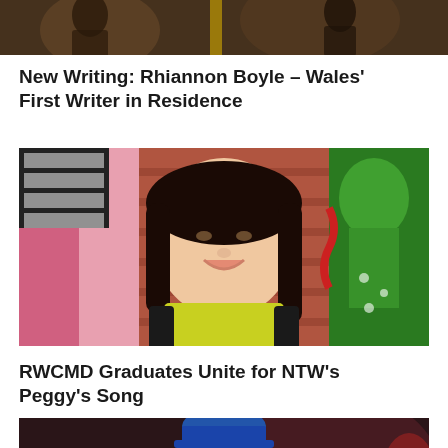[Figure (photo): Top partial photo showing people in a dark/warm-lit scene, cropped at top of page]
New Writing: Rhiannon Boyle – Wales' First Writer in Residence
[Figure (photo): Portrait photo of a smiling woman with long dark hair wearing a yellow top, standing in front of colourful artwork/murals]
RWCMD Graduates Unite for NTW's Peggy's Song
[Figure (photo): Partial photo of a man with a blue cap speaking or performing, cropped at bottom of page]